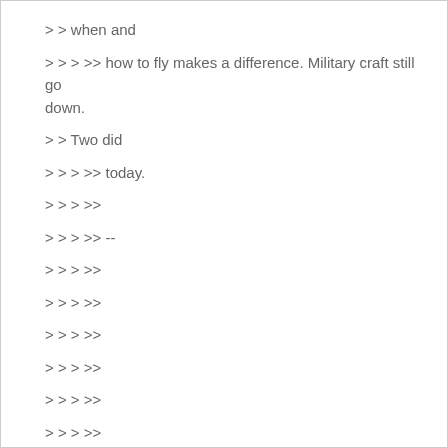> > when and
> > > >> how to fly makes a difference. Military craft still go down.
> > Two did
> > > >> today.
> > > >>
> > > >> --
> > > >>
> > > >>
> > > >>
> > > >>
> > > >>
> > > >>